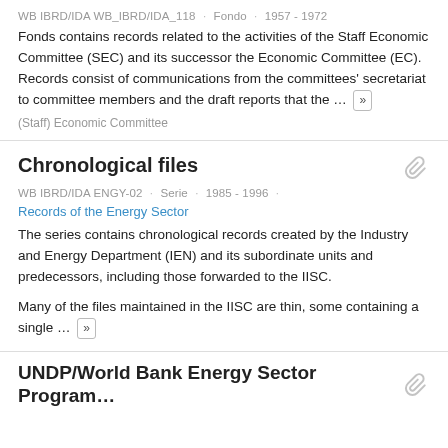WB IBRD/IDA WB_IBRD/IDA_118 · Fondo · 1957 - 1972
Fonds contains records related to the activities of the Staff Economic Committee (SEC) and its successor the Economic Committee (EC). Records consist of communications from the committees' secretariat to committee members and the draft reports that the … »
(Staff) Economic Committee
Chronological files
WB IBRD/IDA ENGY-02 · Serie · 1985 - 1996 ·
Records of the Energy Sector
The series contains chronological records created by the Industry and Energy Department (IEN) and its subordinate units and predecessors, including those forwarded to the IISC.
Many of the files maintained in the IISC are thin, some containing a single … »
UNDP/World Bank Energy Sector Program…